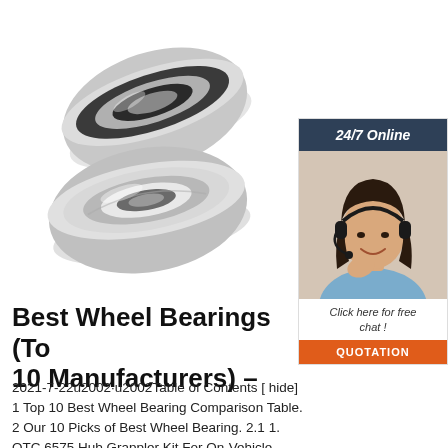[Figure (photo): Two ball bearing rings shown at an angle on white background — one above the other, slightly overlapping. Upper bearing shows a rubber-sealed face, lower bearing shows a metal-shielded face.]
[Figure (photo): 24/7 Online chat support sidebar with a woman wearing a headset smiling, with a dark navy header reading '24/7 Online', italic text 'Click here for free chat!', and an orange button labeled 'QUOTATION'.]
Best Wheel Bearings (To 10 Manufacturers) –
2021-7-22u2002·u2002Table of Contents [ hide] 1 Top 10 Best Wheel Bearing Comparison Table. 2 Our 10 Picks of Best Wheel Bearing. 2.1 1. OTC 6575 Hub Grappler Kit For On-Vehicle Wheel Hub and Bearing Removal. 2.2 2. Timken